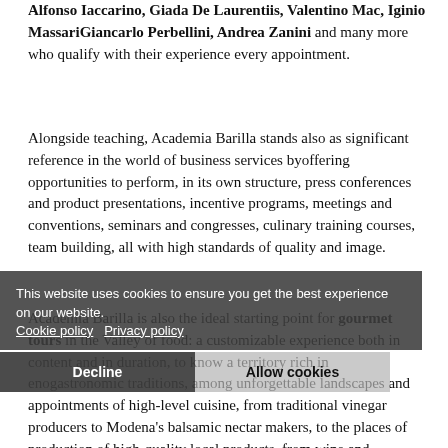Alfonso Iaccarino, Giada De Laurentiis, Valentino Mac, Iginio MassariGiancarlo Perbellini, Andrea Zanini and many more who qualify with their experience every appointment.
Alongside teaching, Academia Barilla stands also as significant reference in the world of business services byoffering opportunities to perform, in its own structure, press conferences and product presentations, incentive programs, meetings and conventions, seminars and congresses, culinary training courses, team building, all with high standards of quality and image.
Academia Barilla is also the ideal starting point for gourmet tours in the Valley of food: a customizable experience both in content and in duration, to know a territory rich in enogastronomic traditions, among unforgettable landscapes and appointments of high-level cuisine, from traditional vinegar producers to Modena's balsamic nectar makers, to the places of production of high-quality local products, from wine and charcuteries cellars to the Food Museums, that tell the history and the food traditions, from the dinners in castles and historic houses of great charm enriched by concerts and musical events, to shopping in Italian fashion and design stores and moments of relax at spas and wellness centres.
This website uses cookies to ensure you get the best experience on our website. Cookie policy  Privacy policy
Decline    Allow cookies